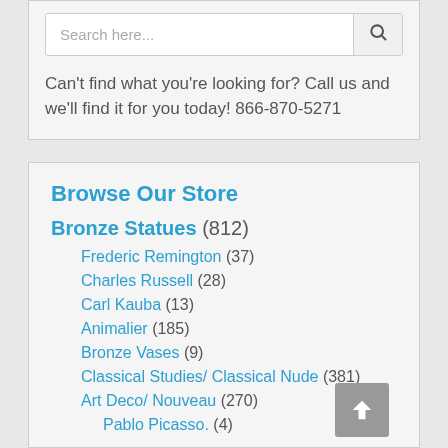[Figure (screenshot): Search bar with placeholder text 'Search here...' and a search icon button]
Can't find what you're looking for? Call us and we'll find it for you today! 866-870-5271
Browse Our Store
Bronze Statues (812)
Frederic Remington (37)
Charles Russell (28)
Carl Kauba (13)
Animalier (185)
Bronze Vases (9)
Classical Studies/ Classical Nude (381)
Art Deco/ Nouveau (270)
Pablo Picasso. (4)